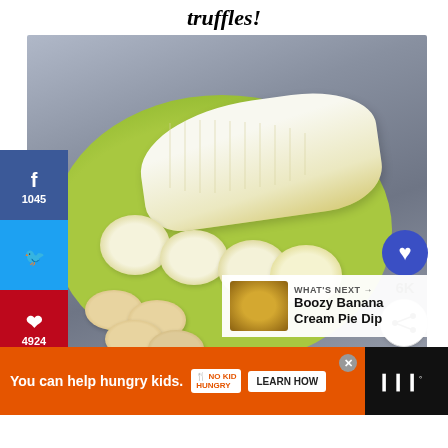truffles!
[Figure (photo): A peeled banana cut into slices and whole cookies/vanilla wafers arranged on a green plate, on a gray background. Social media sharing sidebar on left with Facebook (1045), Twitter, and Pinterest (4924) buttons. Heart/save button showing 6K on right side. 'What's Next' callout showing Boozy Banana Cream Pie Dip.]
WHAT'S NEXT → Boozy Banana Cream Pie Dip
You can help hungry kids. NO KID HUNGRY LEARN HOW